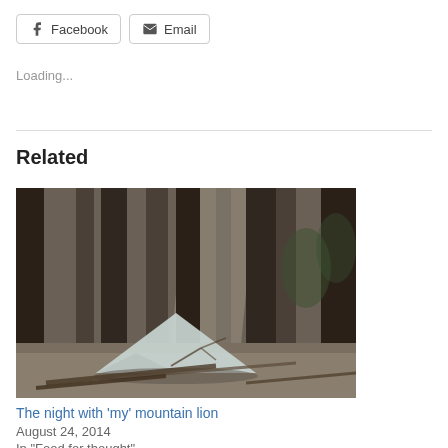[Figure (other): Facebook share button with Facebook icon]
[Figure (other): Email share button with envelope icon]
Loading...
Related
[Figure (photo): Photograph of a light gray tent pitched among tall pine trees in a forest, surrounded by fallen branches on a dirt path.]
The night with 'my' mountain lion
August 24, 2014
In "Food for thought"